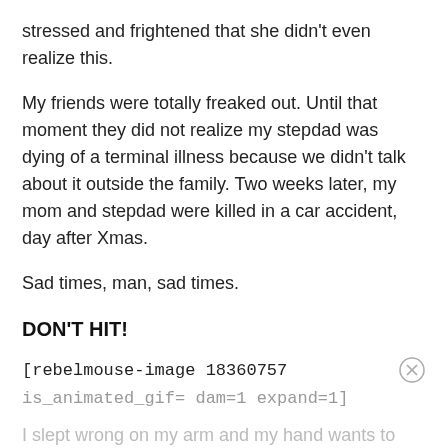stressed and frightened that she didn't even realize this.
My friends were totally freaked out. Until that moment they did not realize my stepdad was dying of a terminal illness because we didn't talk about it outside the family. Two weeks later, my mom and stepdad were killed in a car accident, day after Xmas.
Sad times, man, sad times.
DON'T HIT!
[rebelmouse-image 18360757 is_animated_gif= dam=1 expand=1]
I slept wrong on my arm and my hand wants to